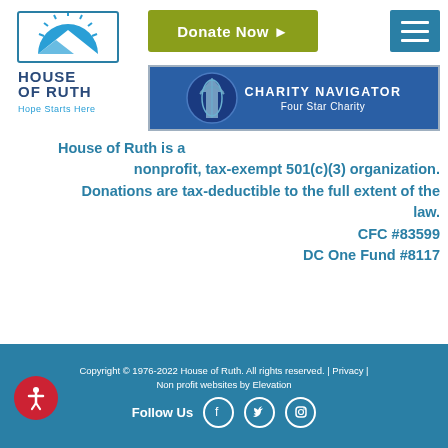[Figure (logo): House of Ruth logo with sun/mountain icon and text 'HOUSE OF RUTH Hope Starts Here']
[Figure (other): Green Donate Now button with arrow]
[Figure (other): Blue menu icon with three horizontal lines]
[Figure (other): Charity Navigator Four Star Charity badge]
House of Ruth is a nonprofit, tax-exempt 501(c)(3) organization. Donations are tax-deductible to the full extent of the law. CFC #83599 DC One Fund #8117
[Figure (other): Search bar with magnifying glass button]
Copyright © 1976-2022 House of Ruth. All rights reserved. | Privacy | Non profit websites by Elevation Follow Us [Facebook] [Twitter] [Instagram]